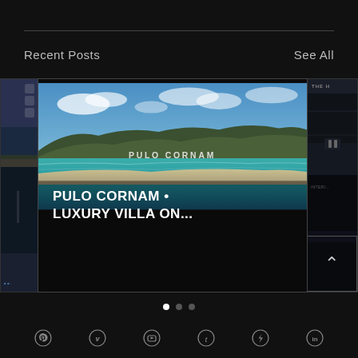Recent Posts
See All
[Figure (screenshot): Mobile app screenshot showing a blog/post card for 'PULO CORNAM • LUXURY VILLA ON...' with an aerial coastal landscape image overlaid with text 'PULO CORNAM', flanked by two partially visible cards on either side]
PULO CORNAM • LUXURY VILLA ON...
Pagination dots (3 dots, first active)
Social media icons: Pinterest, Vimeo, YouTube, Tumblr, Ello, LinkedIn